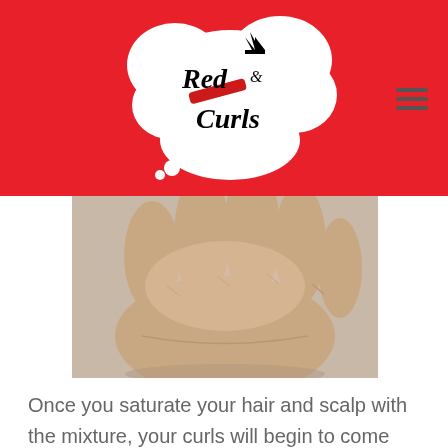[Figure (logo): Red Curls logo: thought-bubble cloud shape with crown, lipstick, and script text reading 'Red Curls' on a red background header]
[Figure (photo): Close-up photograph of a human hand and wrist against a light background]
Once you saturate your hair and scalp with the mixture, your curls will begin to come alive. The water and aloe will serve to hydrate the hair and